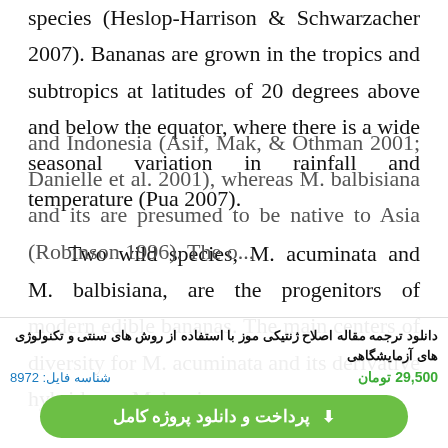species (Heslop-Harrison & Schwarzacher 2007). Bananas are grown in the tropics and subtropics at latitudes of 20 degrees above and below the equator, where there is a wide seasonal variation in rainfall and temperature (Pua 2007).
Two wild species, M. acuminata and M. balbisiana, are the progenitors of modern edible bananas. The main centers of diversity for M. acuminata and its derivative hybrids are Malaysia and Indonesia (Asif, Mak, & Othman 2001; Danielle et al. 2001), whereas M. balbisiana and its are presumed to be native to Asia (Robinson 1996). The o... from their
دانلود ترجمه مقاله اصلاح ژنتیکی موز با استفاده از روش های سنتی و تکنولوژی های آزمایشگاهی
شناسه فایل: 8972
29,500 تومان
پرداخت و دانلود پروژه کامل